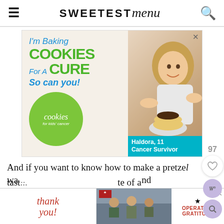SWEETEST menu
[Figure (advertisement): Ad for Cookies for Kids' Cancer featuring a girl. Text: I'm Baking COOKIES For A CURE So can you! cookies for kids' cancer. Haldora, 11 Cancer Survivor.]
And if you want to know how to make a pretzel
tast... te of a wa... nd
[Figure (advertisement): Operation Gratitude bottom banner ad with Thank You text and military imagery.]